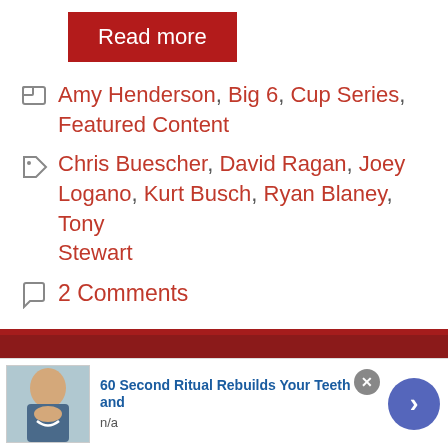Read more
Amy Henderson, Big 6, Cup Series, Featured Content
Chris Buescher, David Ragan, Joey Logano, Kurt Busch, Ryan Blaney, Tony Stewart
2 Comments
Pace Laps: Blaney Heats
[Figure (photo): Advertisement banner: 60 Second Ritual Rebuilds Your Teeth and, n/a, with photo of woman smiling]